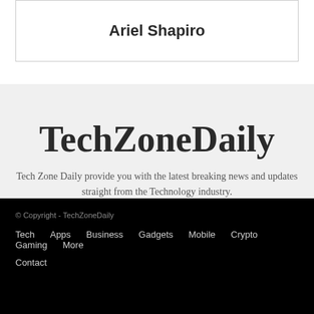Ariel Shapiro
TechZoneDaily
Tech Zone Daily provide you with the latest breaking news and updates straight from the Technology industry.
© Copyright - TechZoneDaily
Tech   Apps   Business   Gadgets   Mobile   Crypto   Gaming   More
Contact